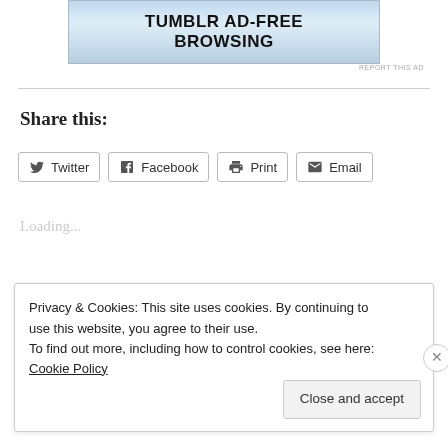[Figure (screenshot): Tumblr Ad-Free Browsing advertisement banner with blue gradient background]
REPORT THIS AD
Share this:
Twitter  Facebook  Print  Email
Loading...
October 8, 2016
1 Reply
Privacy & Cookies: This site uses cookies. By continuing to use this website, you agree to their use.
To find out more, including how to control cookies, see here: Cookie Policy
Close and accept